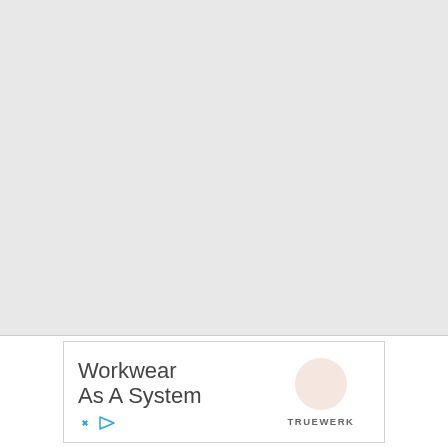[Figure (other): Large light gray blank area occupying the upper portion of the page]
[Figure (other): Advertisement banner for Truewerk workwear. Shows text 'Workwear As A System' with a peach/salmon circle logo and TRUEWERK brand name. Contains X and play button icons at the bottom.]